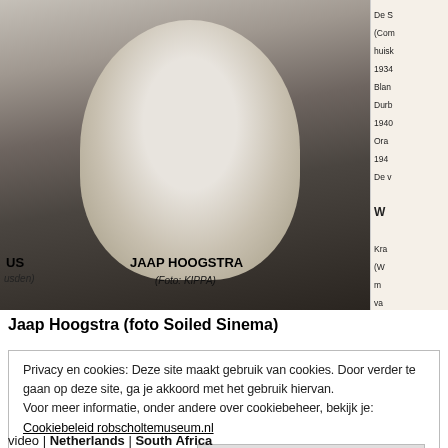[Figure (photo): Black and white newspaper photo of Jaap Hoogstra, a middle-aged man with a beard, cropped from a newspaper page. Label reads 'JAAP HOOGSTRA (Foto: KIPPA)'. On the left edge, partial label 'US (usden)'. On the right, partial newspaper text column.]
Jaap Hoogstra (foto Soiled Sinema)
Privacy en cookies: Deze site maakt gebruik van cookies. Door verder te gaan op deze site, ga je akkoord met het gebruik hiervan.
Voor meer informatie, onder andere over cookiebeheer, bekijk je:
Cookiebeleid robscholtemuseum.nl
Sluiten en bevestigen
video | Netherlands | South Africa